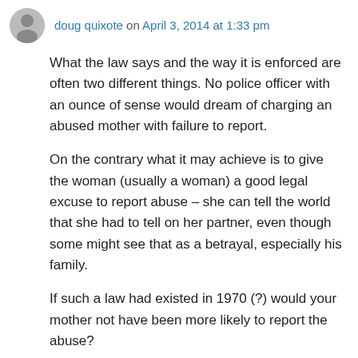doug quixote on April 3, 2014 at 1:33 pm
What the law says and the way it is enforced are often two different things. No police officer with an ounce of sense would dream of charging an abused mother with failure to report.
On the contrary what it may achieve is to give the woman (usually a woman) a good legal excuse to report abuse – she can tell the world that she had to tell on her partner, even though some might see that as a betrayal, especially his family.
If such a law had existed in 1970 (?) would your mother not have been more likely to report the abuse?